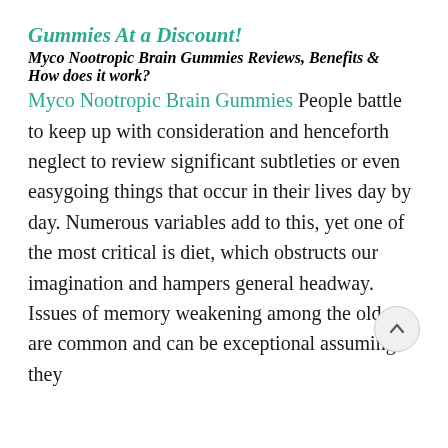Gummies At a Discount!
Myco Nootropic Brain Gummies Reviews, Benefits & How does it work?
Myco Nootropic Brain Gummies People battle to keep up with consideration and henceforth neglect to review significant subtleties or even easygoing things that occur in their lives day by day. Numerous variables add to this, yet one of the most critical is diet, which obstructs our imagination and hampers general headway. Issues of memory weakening among the older are common and can be exceptional assuming they